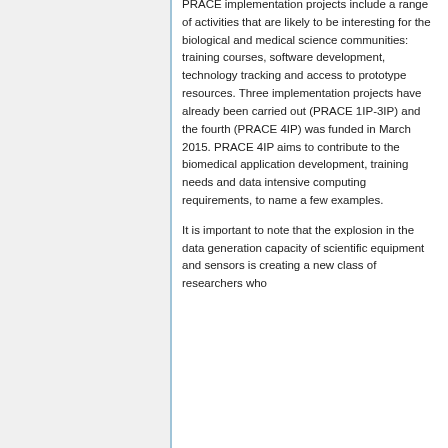PRACE implementation projects include a range of activities that are likely to be interesting for the biological and medical science communities: training courses, software development, technology tracking and access to prototype resources. Three implementation projects have already been carried out (PRACE 1IP-3IP) and the fourth (PRACE 4IP) was funded in March 2015. PRACE 4IP aims to contribute to the biomedical application development, training needs and data intensive computing requirements, to name a few examples.
It is important to note that the explosion in the data generation capacity of scientific equipment and sensors is creating a new class of researchers who